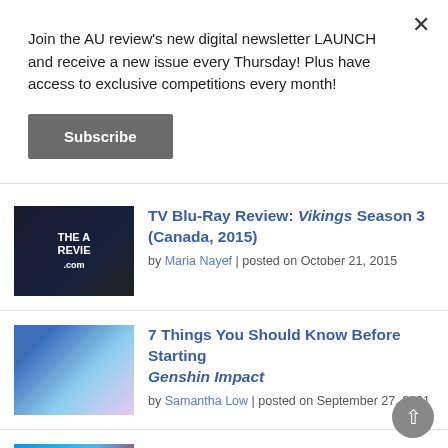Join the AU review's new digital newsletter LAUNCH and receive a new issue every Thursday! Plus have access to exclusive competitions every month!
Subscribe
[Figure (photo): The AU Review logo thumbnail - dark background with silhouetted figures]
TV Blu-Ray Review: Vikings Season 3 (Canada, 2015)
by Maria Nayef | posted on October 21, 2015
[Figure (photo): Genshin Impact game art with colorful characters]
7 Things You Should Know Before Starting Genshin Impact
by Samantha Low | posted on September 27, 2021
[Figure (photo): Harvest Rock Festival promotional image with red lips]
Announcing Harvest Rock Festival in Adelaide featuring Jack White and Crowded House
by John Goodridge | posted on August 24, 2022